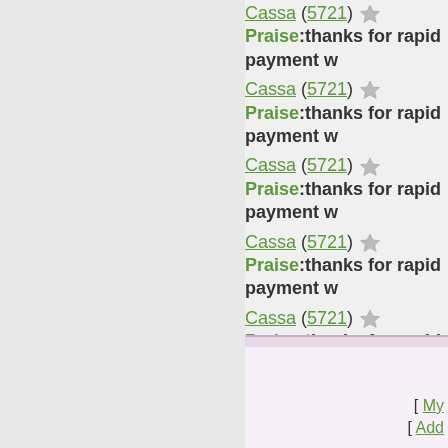Cassa (5721) ★ Praise:thanks for rapid payment w
Cassa (5721) ★ Praise:thanks for rapid payment w
Cassa (5721) ★ Praise:thanks for rapid payment w
Cassa (5721) ★ Praise:thanks for rapid payment w
Cassa (5721) ★ Praise:thanks for rapid payment w
1 2 3 4 5 6 7 8
[ My [ Add